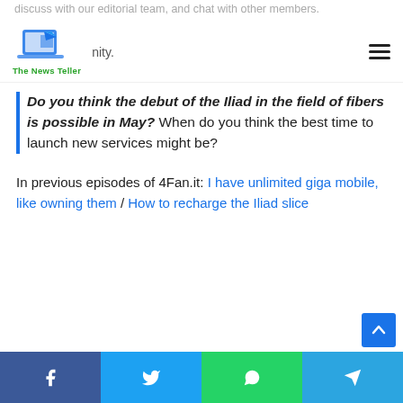The News Teller
discuss with our editorial team, and chat with other members.
nity.
Do you think the debut of the Iliad in the field of fibers is possible in May? When do you think the best time to launch new services might be?
In previous episodes of 4Fan.it: I have unlimited giga mobile, like owning them / How to recharge the Iliad slice